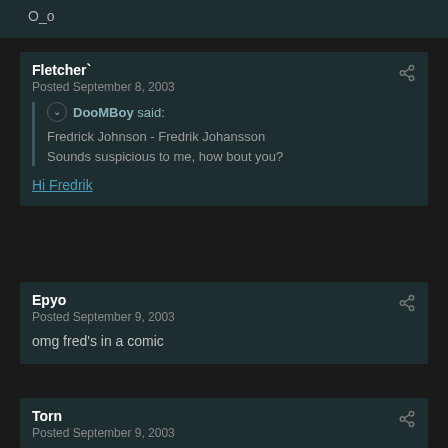O_o
Fletcher`
Posted September 8, 2003
DooMBoy said:
Fredrick Johnson - Fredrik Johansson
Sounds suspicious to me, how bout you?
Hi Fredrik
Epyo
Posted September 9, 2003
omg fred's in a comic
Torn
Posted September 9, 2003